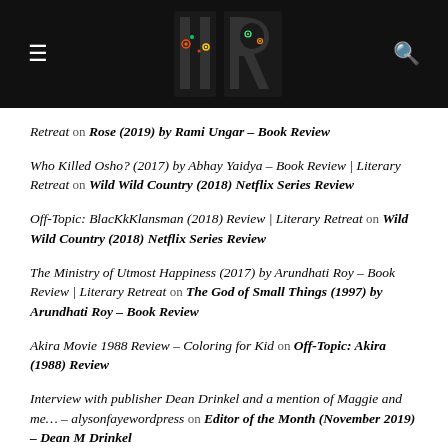[Figure (logo): Literary Retreat website header with dark background, hamburger menu icon on left, search icon on right, and a logo in the center showing two stylized letters with glowing colored robot eyes]
Retreat on Rose (2019) by Rami Ungar – Book Review
Who Killed Osho? (2017) by Abhay Yaidya – Book Review | Literary Retreat on Wild Wild Country (2018) Netflix Series Review
Off-Topic: BlacKkKlansman (2018) Review | Literary Retreat on Wild Wild Country (2018) Netflix Series Review
The Ministry of Utmost Happiness (2017) by Arundhati Roy – Book Review | Literary Retreat on The God of Small Things (1997) by Arundhati Roy – Book Review
Akira Movie 1988 Review – Coloring for Kid on Off-Topic: Akira (1988) Review
Interview with publisher Dean Drinkel and a mention of Maggie and me… – alysonfayewordpress on Editor of the Month (November 2019) – Dean M Drinkel
Author of the Month (September 2019) – Brett Wallach | Literary Retreat on The Last MAN On Earth (2019) by Brett Wallach – Book